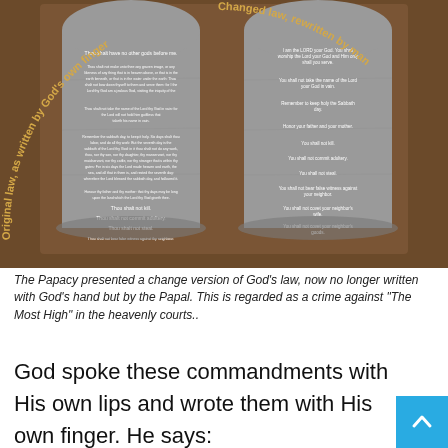[Figure (photo): Photo of two stone tablet replicas showing the Ten Commandments. Left tablet reads 'Original law, as written by God's own finger' and right tablet reads 'Changed law, rewritten by man'. Both tablets are displayed against a dark brown background with white text showing the commandments.]
The Papacy presented a change version of God's law, now no longer written with God's hand but by the Papal. This is regarded as a crime against "The Most High" in the heavenly courts..
God spoke these commandments with His own lips and wrote them with His own finger. He says: